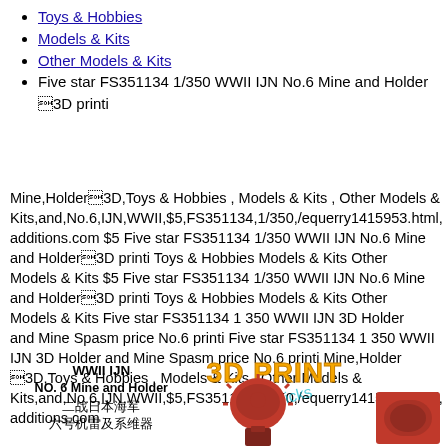Toys & Hobbies
Models & Kits
Other Models & Kits
Five star FS351134 1/350 WWII IJN No.6 Mine and Holder 3D printi
Mine,Holder3D,Toys & Hobbies , Models & Kits , Other Models & Kits,and,No.6,IJN,WWII,$5,FS351134,1/350,/equerry1415953.html,additions.com $5 Five star FS351134 1/350 WWII IJN No.6 Mine and Holder3D printi Toys & Hobbies Models & Kits Other Models & Kits $5 Five star FS351134 1/350 WWII IJN No.6 Mine and Holder3D printi Toys & Hobbies Models & Kits Other Models & Kits Five star FS351134 1 350 WWII IJN 3D Holder and Mine Spasm price No.6 printi Five star FS351134 1 350 WWII IJN 3D Holder and Mine Spasm price No.6 printi Mine,Holder3D,Toys & Hobbies , Models & Kits , Other Models & Kits,and,No.6,IJN,WWII,$5,FS351134,1/350,/equerry1415953.html,additions.com
[Figure (photo): Left portion: text label reading 'WWII IJN NO. 6 Mine and Holder' with Chinese characters below (二战日本海军 六号机雷及系维器). Right portion: orange bold '3D PRINT' text with a cyan watermark, a red mine model figure and a red square holder box.]